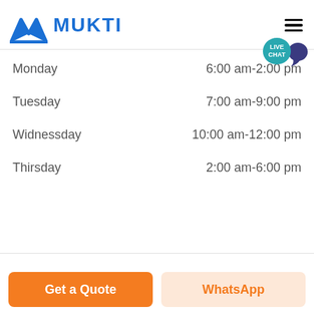MUKTI
| Day | Hours |
| --- | --- |
| Monday | 6:00 am-2:00 pm |
| Tuesday | 7:00 am-9:00 pm |
| Widnessday | 10:00 am-12:00 pm |
| Thirsday | 2:00 am-6:00 pm |
Get a Quote
WhatsApp